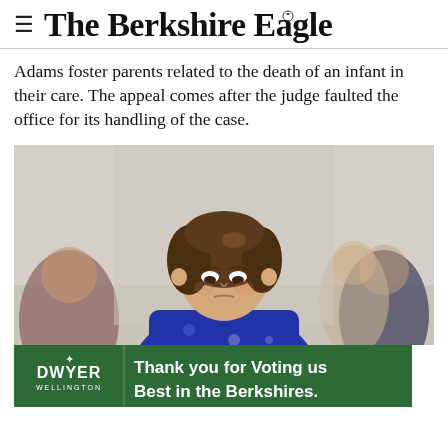The Berkshire Eagle
Adams foster parents related to the death of an infant in their care. The appeal comes after the judge faulted the office for its handling of the case.
[Figure (photo): A woman with curly brown hair wearing a blue floral dress looks downward, appearing somber, photographed in a courtroom setting with blurred figures in the background.]
[Figure (other): Advertisement for Dwyer Wellington: 'Thank you for Voting us Best in the Berkshires.' with green background and CONTACT tab.]